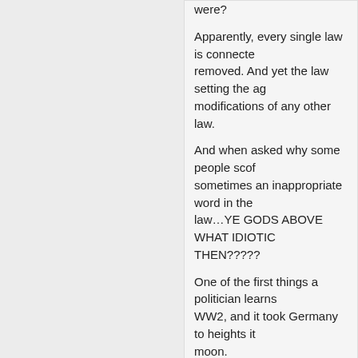were?

Apparently, every single law is connected to removed. And yet the law setting the ag modifications of any other law.

And when asked why some people scof sometimes an inappropriate word in the law…YE GODS ABOVE WHAT IDIOTIC THEN?????

One of the first things a politician learns WW2, and it took Germany to heights it moon.

But I guess junior was asleep in class th (duh), there was no give and take, or cl interview.

It sounded like he was discussing a hist as he sat before the two reporters, who Buthaina Sha'ban.

August 21st, 2011, 3:09 pm
SYRIA NO KANDAHAR said:

Proud (edited for personal attack. This i

August 21st, 2011, 3:10 pm
ABOUD said: